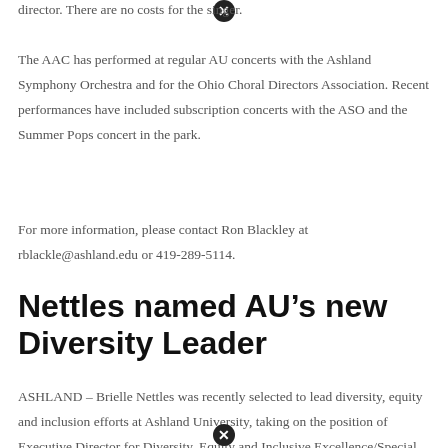director. There are no costs for the singer.
The AAC has performed at regular AU concerts with the Ashland Symphony Orchestra and for the Ohio Choral Directors Association. Recent performances have included subscription concerts with the ASO and the Summer Pops concert in the park.
For more information, please contact Ron Blackley at rblackle@ashland.edu or 419-289-5114.
Nettles named AU’s new Diversity Leader
ASHLAND – Brielle Nettles was recently selected to lead diversity, equity and inclusion efforts at Ashland University, taking on the position of Executive Director for Diversity, Equity and Inclusive Excellence/Special Assistant to the President. She officially started her service on August 9th.